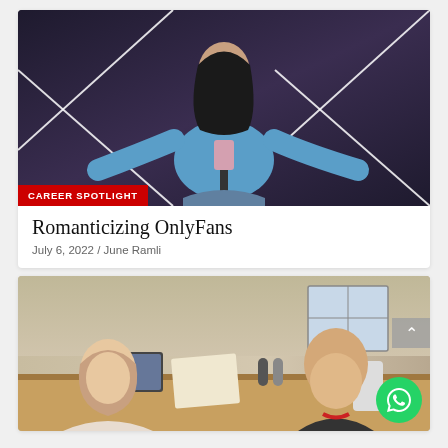[Figure (photo): Young woman in blue oversized sweatshirt and jeans standing in front of geometric neon lights, holding a phone on a tripod/selfie stick, with dramatic V-shaped light patterns in the background]
CAREER SPOTLIGHT
Romanticizing OnlyFans
July 6, 2022 / June Ramli
[Figure (photo): An older man and a middle-aged woman sitting at a desk/table in what appears to be an office or home setting, smiling at the camera]